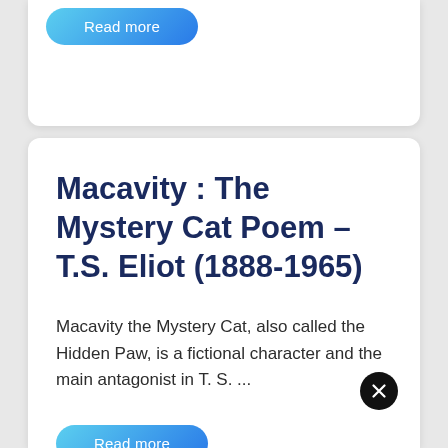Read more
Macavity : The Mystery Cat Poem – T.S. Eliot (1888-1965)
Macavity the Mystery Cat, also called the Hidden Paw, is a fictional character and the main antagonist in T. S. ...
Read more